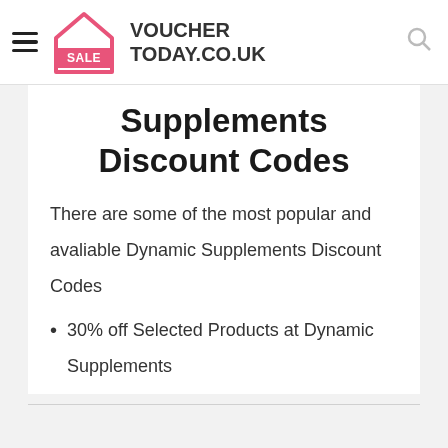VOUCHER TODAY.CO.UK
Supplements Discount Codes
There are some of the most popular and avaliable Dynamic Supplements Discount Codes
30% off Selected Products at Dynamic Supplements